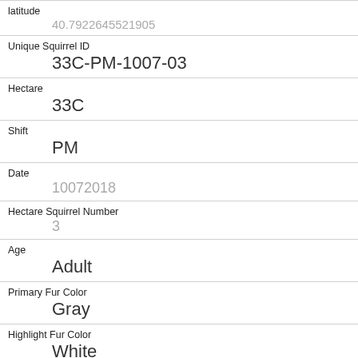| Field | Value |
| --- | --- |
| latitude | 40.7922645521905 |
| Unique Squirrel ID | 33C-PM-1007-03 |
| Hectare | 33C |
| Shift | PM |
| Date | 10072018 |
| Hectare Squirrel Number | 3 |
| Age | Adult |
| Primary Fur Color | Gray |
| Highlight Fur Color | White |
| Combination of Primary and Highlight Color | Gray+White |